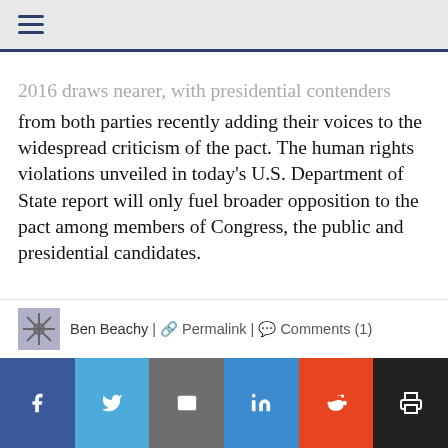Navigation bar with hamburger menu
2016 draws nearer, with presidential contenders from both parties recently adding their voices to the widespread criticism of the pact. The human rights violations unveiled in today's U.S. Department of State report will only fuel broader opposition to the pact among members of Congress, the public and presidential candidates.
[Figure (other): Green Print button with printer icon]
Ben Beachy | Permalink | Comments (1)
[Figure (other): Social share bar with Facebook, Twitter, Email, LinkedIn, Reddit, Print buttons]